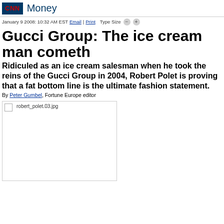CNN Money
January 9 2008: 10:32 AM EST Email | Print   Type Size
Gucci Group: The ice cream man cometh
Ridiculed as an ice cream salesman when he took the reins of the Gucci Group in 2004, Robert Polet is proving that a fat bottom line is the ultimate fashion statement.
By Peter Gumbel, Fortune Europe editor
[Figure (photo): Placeholder image labeled robert_polet.03.jpg]